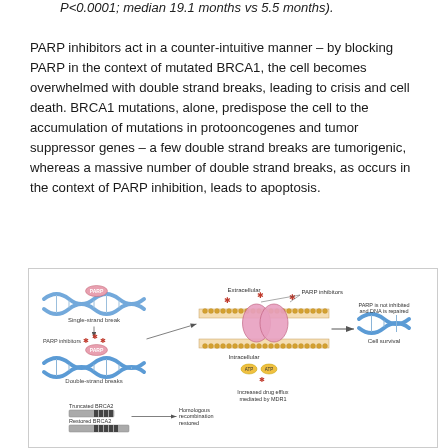P<0.0001; median 19.1 months vs 5.5 months).
PARP inhibitors act in a counter-intuitive manner – by blocking PARP in the context of mutated BRCA1, the cell becomes overwhelmed with double strand breaks, leading to crisis and cell death. BRCA1 mutations, alone, predispose the cell to the accumulation of mutations in protooncogenes and tumor suppressor genes – a few double strand breaks are tumorigenic, whereas a massive number of double strand breaks, as occurs in the context of PARP inhibition, leads to apoptosis.
[Figure (illustration): Diagram showing PARP inhibitor mechanism of action. Left panel: DNA with single-strand break showing PARP binding; PARP inhibitors cause double-strand breaks. Middle panel: Cell membrane cross-section showing extracellular and intracellular space with PARP inhibitors, ATP, and increased drug efflux mediated by MDR1. Right panel: PARP is not inhibited and DNA is repaired leading to cell survival. Lower section: Truncated BRCA2 vs Restored BRCA2 leading to homologous recombination restored.]